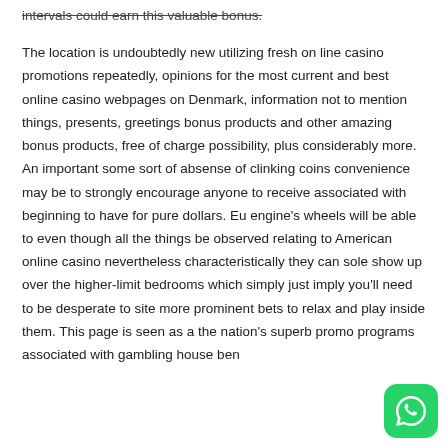intervals could earn this valuable bonus. The location is undoubtedly new utilizing fresh on line casino promotions repeatedly, opinions for the most current and best online casino webpages on Denmark, information not to mention things, presents, greetings bonus products and other amazing bonus products, free of charge possibility, plus considerably more. An important some sort of absense of clinking coins convenience may be to strongly encourage anyone to receive associated with beginning to have for pure dollars. Eu engine's wheels will be able to even though all the things be observed relating to American online casino nevertheless characteristically they can sole show up over the higher-limit bedrooms which simply just imply you'll need to be desperate to site more prominent bets to relax and play inside them. This page is seen as a the nation's superb promo programs associated with gambling house ben... on the road along thosefortunate table...
[Figure (other): WhatsApp contact button — green rounded square icon with white phone/chat logo, positioned bottom-right corner]